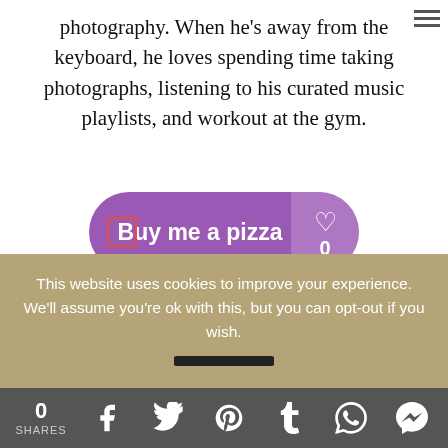photography. When he's away from the keyboard, he loves spending time taking photographs, listening to his curated music playlists, and workout at the gym.
[Figure (other): Purple 'Buy me a pizza' button with heart icon showing count 0]
This website uses cookies to improve your experience. We'll assume you're ok with this, but you can opt-out if you wish.
0 SHARES [Facebook] [Twitter] [Pinterest] [Tumblr] [WhatsApp] [Messenger]